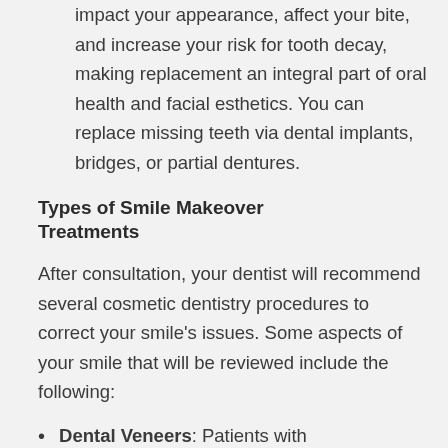impact your appearance, affect your bite, and increase your risk for tooth decay, making replacement an integral part of oral health and facial esthetics. You can replace missing teeth via dental implants, bridges, or partial dentures.
Types of Smile Makeover Treatments
After consultation, your dentist will recommend several cosmetic dentistry procedures to correct your smile's issues. Some aspects of your smile that will be reviewed include the following:
Dental Veneers: Patients with